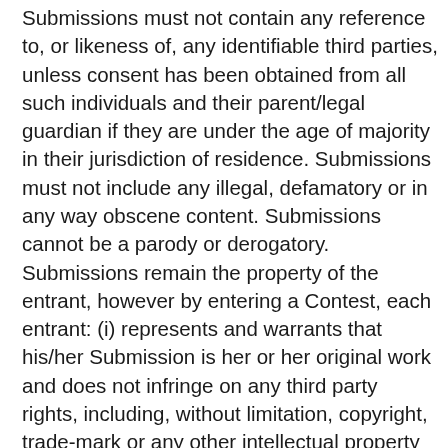Submissions must not contain any reference to, or likeness of, any identifiable third parties, unless consent has been obtained from all such individuals and their parent/legal guardian if they are under the age of majority in their jurisdiction of residence. Submissions must not include any illegal, defamatory or in any way obscene content. Submissions cannot be a parody or derogatory. Submissions remain the property of the entrant, however by entering a Contest, each entrant: (i) represents and warrants that his/her Submission is her or her original work and does not infringe on any third party rights, including, without limitation, copyright, trade-mark or any other intellectual property rights; (ii) represents and warrants that he/she has all necessary rights from any third party that appears, or is mentioned, in the Submission, including those from the parent or legal guardian if third party is under the age of majority; (iii) grants Bell Media Inc. an unlimited, royalty free, irrevocable, right and license to reproduce, post and/or broadcast the Submission in any